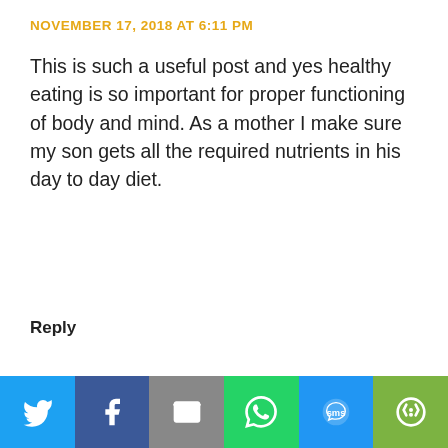NOVEMBER 17, 2018 AT 6:11 PM
This is such a useful post and yes healthy eating is so important for proper functioning of body and mind. As a mother I make sure my son gets all the required nutrients in his day to day diet.
Reply
Preetjyot Kaur
NOVEMBER 20, 2018 AT 9:10 AM